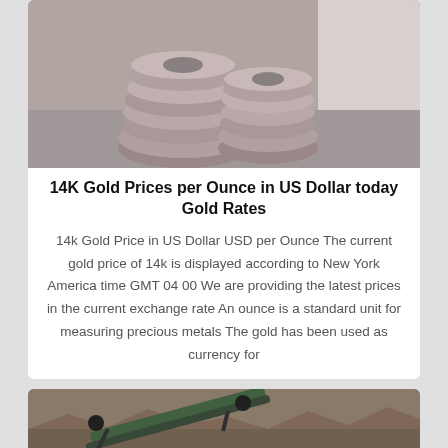[Figure (photo): Stack of grey/mauve donut-shaped pottery or clay rings piled on a surface next to a white wall]
14K Gold Prices per Ounce in US Dollar today Gold Rates
14k Gold Price in US Dollar USD per Ounce The current gold price of 14k is displayed according to New York America time GMT 04 00 We are providing the latest prices in the current exchange rate An ounce is a standard unit for measuring precious metals The gold has been used as currency for
[Figure (photo): Mining or excavation site with heavy equipment/conveyor belt machinery on rocky ground]